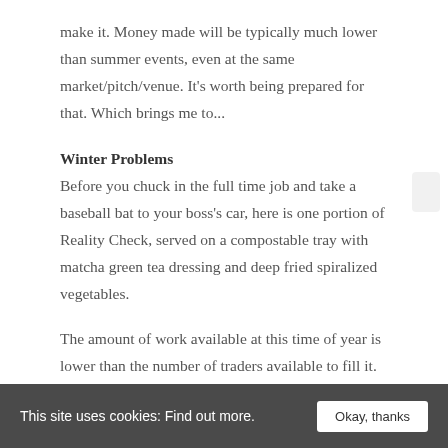make it. Money made will be typically much lower than summer events, even at the same market/pitch/venue. It's worth being prepared for that. Which brings me to...
Winter Problems
Before you chuck in the full time job and take a baseball bat to your boss's car, here is one portion of Reality Check, served on a compostable tray with matcha green tea dressing and deep fried spiralized vegetables.
The amount of work available at this time of year is lower than the number of traders available to fill it.
This site uses cookies: Find out more.  Okay, thanks